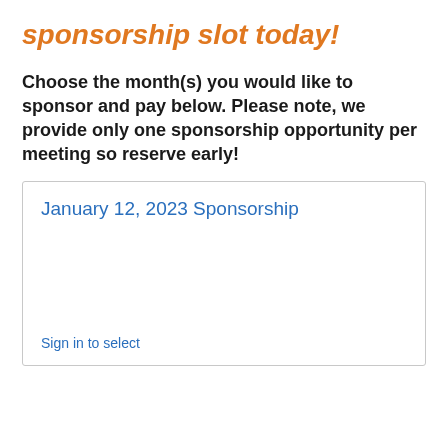sponsorship slot today!
Choose the month(s) you would like to sponsor and pay below. Please note, we provide only one sponsorship opportunity per meeting so reserve early!
January 12, 2023 Sponsorship
Sign in to select